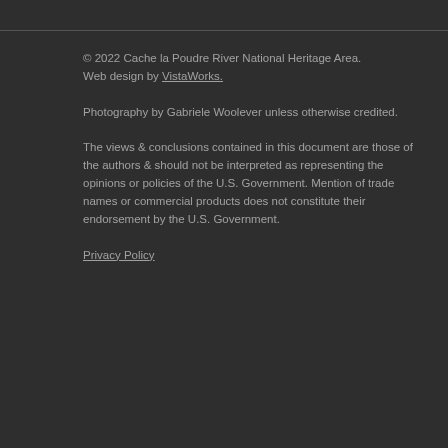© 2022 Cache la Poudre River National Heritage Area. Web design by VistaWorks.
Photography by Gabriele Woolever unless otherwise credited.
The views & conclusions contained in this document are those of the authors & should not be interpreted as representing the opinions or policies of the U.S. Government. Mention of trade names or commercial products does not constitute their endorsement by the U.S. Government.
Privacy Policy